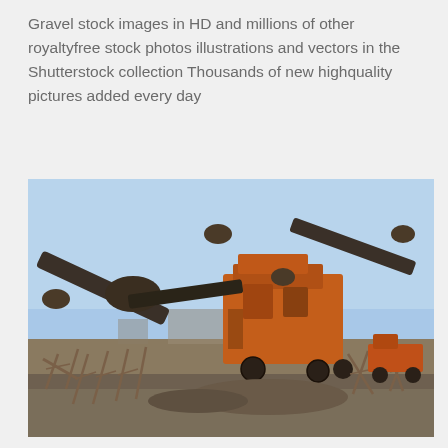Gravel stock images in HD and millions of other royaltyfree stock photos illustrations and vectors in the Shutterstock collection Thousands of new highquality pictures added every day
[Figure (photo): Industrial gravel crushing and screening plant with orange conveyor belts and machinery on a gravel yard under a blue sky]